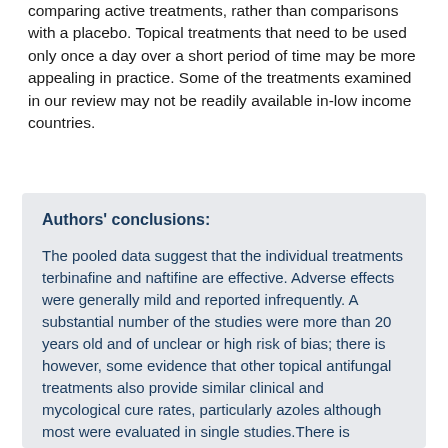comparing active treatments, rather than comparisons with a placebo. Topical treatments that need to be used only once a day over a short period of time may be more appealing in practice. Some of the treatments examined in our review may not be readily available in-low income countries.
Authors' conclusions:
The pooled data suggest that the individual treatments terbinafine and naftifine are effective. Adverse effects were generally mild and reported infrequently. A substantial number of the studies were more than 20 years old and of unclear or high risk of bias; there is however, some evidence that other topical antifungal treatments also provide similar clinical and mycological cure rates, particularly azoles although most were evaluated in single studies. There is insufficient evidence to determine if Whitfield's ointment, a widely used agent is effective.